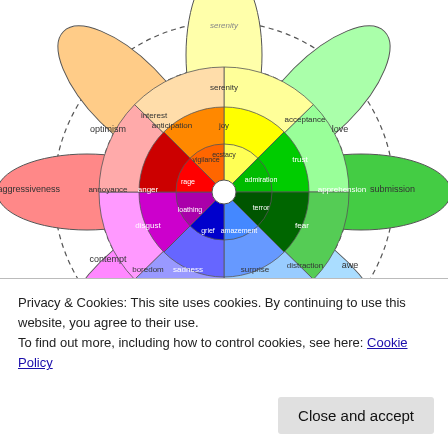[Figure (infographic): Plutchik's Wheel of Emotions showing 8 primary emotions (joy, trust, fear, surprise, sadness, disgust, anger, anticipation) arranged in a color wheel with inner and outer rings showing intensity variations, and labels for blended emotions between petals including: serenity, joy, ecstacy, acceptance, trust, admiration, apprehension, fear, terror, amazement, surprise, distraction, sadness, grief, boredom, disgust, loathing, rage, anger, annoyance, vigilance, anticipation, interest, optimism, love, submission, awe, contempt, aggressiveness]
Privacy & Cookies: This site uses cookies. By continuing to use this website, you agree to their use.
To find out more, including how to control cookies, see here: Cookie Policy
Close and accept